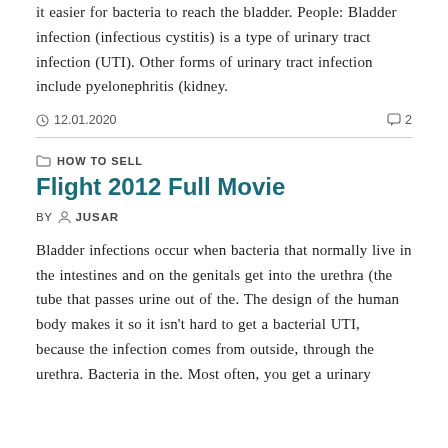it easier for bacteria to reach the bladder. People: Bladder infection (infectious cystitis) is a type of urinary tract infection (UTI). Other forms of urinary tract infection include pyelonephritis (kidney.
12.01.2020   2
HOW TO SELL
Flight 2012 Full Movie
BY  JUSAR
Bladder infections occur when bacteria that normally live in the intestines and on the genitals get into the urethra (the tube that passes urine out of the. The design of the human body makes it so it isn't hard to get a bacterial UTI, because the infection comes from outside, through the urethra. Bacteria in the. Most often, you get a urinary